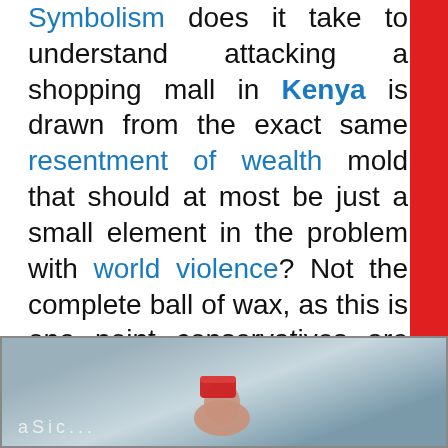Symbolism does it take to understand attacking a shopping mall in Kenya is drawn from the exact same resentment of wealth mold that should at most be just a small element in the problem with world violence? Not the complete ball of wax, as this is one point conservatives are dead center right enterprise is the key.
[Figure (photo): A hand erasing a chalkboard with a red eraser, chalk writing visible in background]